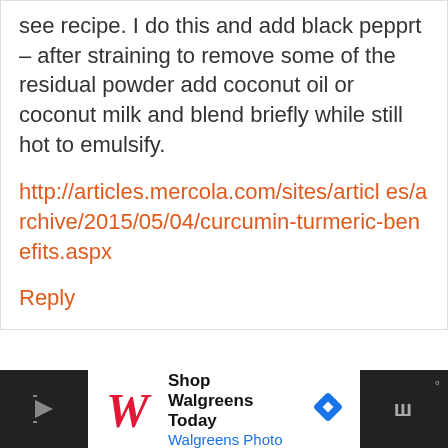see recipe. I do this and add black pepprt – after straining to remove some of the residual powder add coconut oil or coconut milk and blend briefly while still hot to emulsify.
http://articles.mercola.com/sites/articles/archive/2015/05/04/curcumin-turmeric-benefits.aspx
Reply
[Figure (other): Walgreens advertisement banner with logo, 'Shop Walgreens Today' text, 'Walgreens Photo' subtext, and navigation icons]